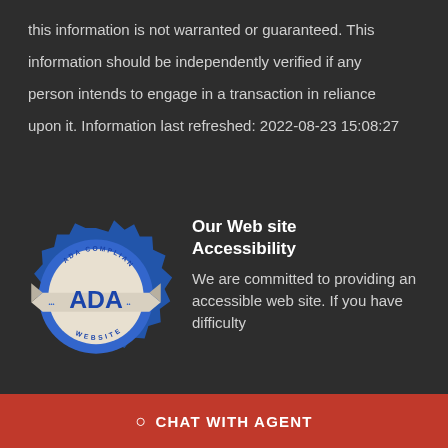this information is not warranted or guaranteed. This information should be independently verified if any person intends to engage in a transaction in reliance upon it. Information last refreshed: 2022-08-23 15:08:27
[Figure (logo): ADA Compliant Website badge — circular blue seal with ribbon banner reading ADA in the center]
Our Web site Accessibility
We are committed to providing an accessible web site. If you have difficulty accessing content, have difficulty viewing a file on the web site, or notice any accessibility problems, please contact us to specify the nature of the accessibility issue and any assistivi... We will strive to prov...
CHAT WITH AGENT